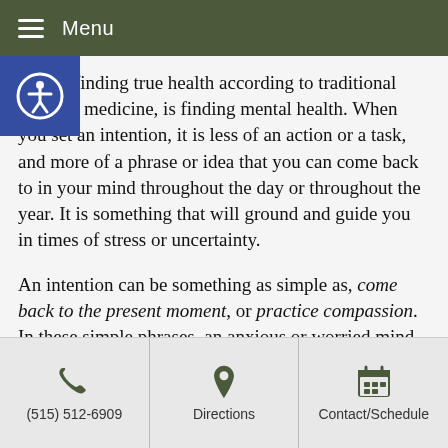Menu
Part of finding true health according to traditional Chinese medicine, is finding mental health. When you set an intention, it is less of an action or a task, and more of a phrase or idea that you can come back to in your mind throughout the day or throughout the year. It is something that will ground and guide you in times of stress or uncertainty.
An intention can be something as simple as, come back to the present moment, or practice compassion. In these simple phrases, an anxious or worried mind can find something to come back to and rest on, whenever it needs.
Setting a resolution or an intention can be a great way
(515) 512-6909 | Directions | Contact/Schedule